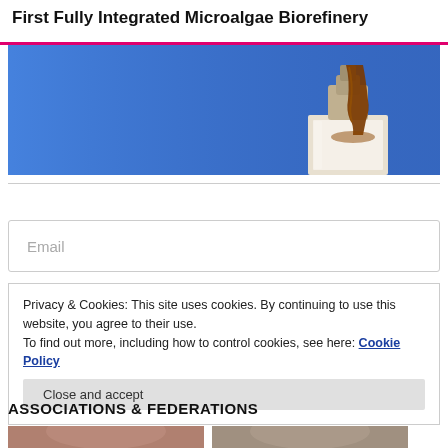First Fully Integrated Microalgae Biorefinery
[Figure (photo): Photo showing a dark amber liquid being poured into a glass container against a blue background. Likely depicting oil or biofuel.]
Email
Privacy & Cookies: This site uses cookies. By continuing to use this website, you agree to their use.
To find out more, including how to control cookies, see here: Cookie Policy
Close and accept
ASSOCIATIONS & FEDERATIONS